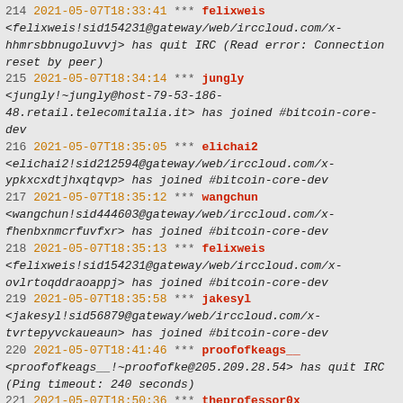214 2021-05-07T18:33:41  *** felixweis <felixweis!sid154231@gateway/web/irccloud.com/x-hhmrsbbnugoluvvj> has quit IRC (Read error: Connection reset by peer)
215 2021-05-07T18:34:14  *** jungly <jungly!~jungly@host-79-53-186-48.retail.telecomitalia.it> has joined #bitcoin-core-dev
216 2021-05-07T18:35:05  *** elichai2 <elichai2!sid212594@gateway/web/irccloud.com/x-ypkxcxdtjhxqtqvp> has joined #bitcoin-core-dev
217 2021-05-07T18:35:12  *** wangchun <wangchun!sid444603@gateway/web/irccloud.com/x-fhenbxnmcrfuvfxr> has joined #bitcoin-core-dev
218 2021-05-07T18:35:13  *** felixweis <felixweis!sid154231@gateway/web/irccloud.com/x-ovlrtoqddraoappj> has joined #bitcoin-core-dev
219 2021-05-07T18:35:58  *** jakesyl <jakesyl!sid56879@gateway/web/irccloud.com/x-tvrtepyvckaueaun> has joined #bitcoin-core-dev
220 2021-05-07T18:41:46  *** proofofkeags__ <proofofkeags__!~proofofke@205.209.28.54> has quit IRC (Ping timeout: 240 seconds)
221 2021-05-07T18:50:36  *** theprofessor0x <theprofessor0x!theprofess@bb121-6-182-56.singnet.com.sg> has quit IRC ()
222 2021-05-07T19:00:52  <achow101> wallet meeting?
223 2021-05-07T19:01:56  <achow101> #startmeeting